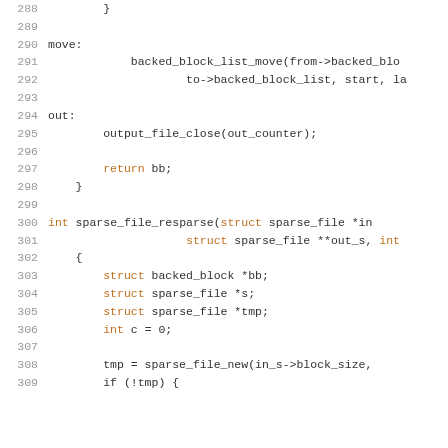[Figure (screenshot): Source code listing lines 288-309 in C, showing backed_block_list_move call, out label, output_file_close, return bb, closing brace, and sparse_file_resparse function definition with variable declarations.]